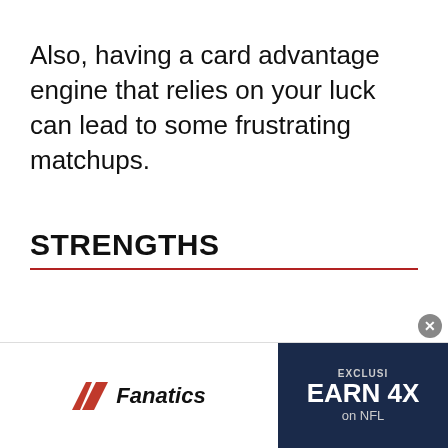Also, having a card advantage engine that relies on your luck can lead to some frustrating matchups.
STRENGTHS
Although some frustrating matchups might
[Figure (other): Fanatics advertisement banner with red chevron logo, 'Fanatics' text, and dark blue panel showing 'EXCLUSIVE EARN 4X on NFL']